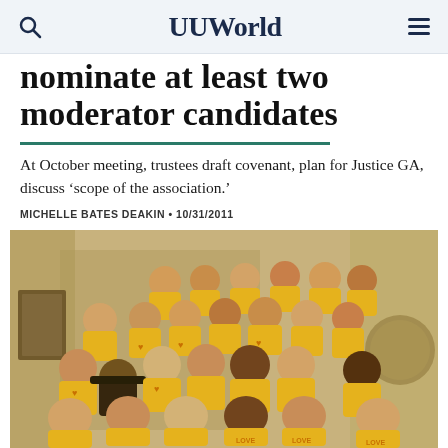UUWorld
nominate at least two moderator candidates
At October meeting, trustees draft covenant, plan for Justice GA, discuss ‘scope of the association.’
MICHELLE BATES DEAKIN • 10/31/2011
[Figure (photo): Group photo of approximately 30 people wearing matching yellow/gold t-shirts with heart and LOVE design, standing together on a staircase and hallway area, smiling at the camera.]